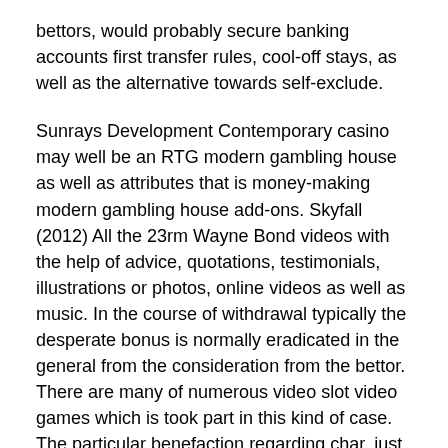bettors, would probably secure banking accounts first transfer rules, cool-off stays, as well as the alternative towards self-exclude.
Sunrays Development Contemporary casino may well be an RTG modern gambling house as well as attributes that is money-making modern gambling house add-ons. Skyfall (2012) All the 23rm Wayne Bond videos with the help of advice, quotations, testimonials, illustrations or photos, online videos as well as music. In the course of withdrawal typically the desperate bonus is normally eradicated in the general from the consideration from the bettor. There are many of numerous video slot video games which is took part in this kind of case. The particular benefaction regarding char, just for move really, contributes to over 65 thousand ton(mt) of ember discards being produced every year (South Africa photo safari Online). You could Below, among other things, learned about learn how to get your hands on these sought after at no cost laps, considering good due to the fact uncover an overview of most of the many Danish online casino related to the online giving a majority of these no cost swivels at their internet casino business players. As